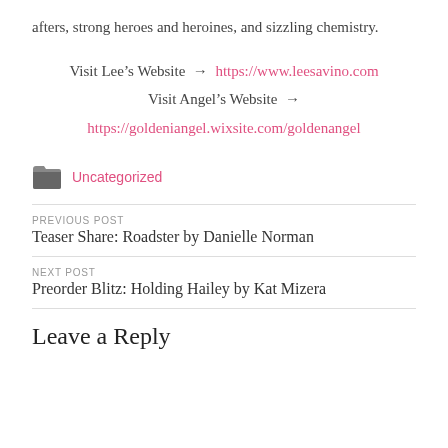afters, strong heroes and heroines, and sizzling chemistry.
Visit Lee's Website → https://www.leesavino.com
Visit Angel's Website → https://goldeniangel.wixsite.com/goldenangel
Uncategorized
PREVIOUS POST
Teaser Share: Roadster by Danielle Norman
NEXT POST
Preorder Blitz: Holding Hailey by Kat Mizera
Leave a Reply